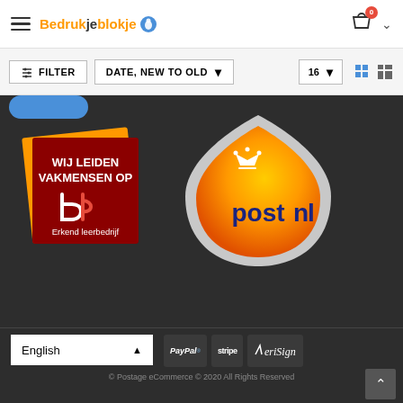Bedrukjeblokje — navigation header with hamburger menu, logo, cart icon with badge 0
FILTER   DATE, NEW TO OLD   16
[Figure (logo): SBB Erkend leerbedrijf logo — dark red square with orange border, white text 'WIJ LEIDEN VAKMENSEN OP', white SBB logo mark, text 'Erkend leerbedrijf']
[Figure (logo): PostNL logo — orange triangular shield shape with gray border, PostNL wordmark in dark blue with crown icon]
English
PayPal  stripe  VeriSign
© Postage eCommerce © 2020 All Rights Reserved